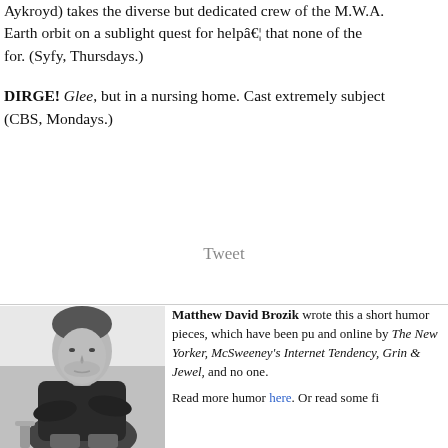Aykroyd) takes the diverse but dedicated crew of the M.W.A. Earth orbit on a sublight quest for helpâ€¦ that none of the for. (Syfy, Thursdays.)
DIRGE! Glee, but in a nursing home. Cast extremely subject (CBS, Mondays.)
Tweet
[Figure (photo): Black and white photo of Matthew David Brozik, a man with short hair sitting with arms crossed wearing a dark sweater]
Matthew David Brozik wrote this a short humor pieces, which have been pu and online by The New Yorker, McSweeney's Internet Tendency, Grin & Jewel, and no one. Read more humor here. Or read some fi